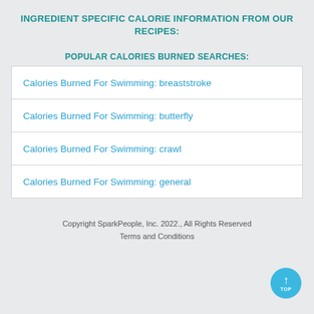INGREDIENT SPECIFIC CALORIE INFORMATION FROM OUR RECIPES:
POPULAR CALORIES BURNED SEARCHES:
Calories Burned For Swimming: breaststroke
Calories Burned For Swimming: butterfly
Calories Burned For Swimming: crawl
Calories Burned For Swimming: general
Copyright SparkPeople, Inc. 2022., All Rights Reserved
Terms and Conditions